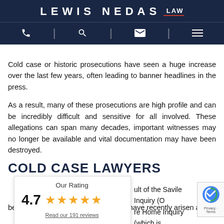LEWIS NEDAS LAW
Cold case or historic prosecutions have seen a huge increase over the last few years, often leading to banner headlines in the press.
As a result, many of these prosecutions are high profile and can be incredibly difficult and sensitive for all involved. These allegations can span many decades, important witnesses may no longer be available and vital documentation may have been destroyed.
COLD CASE LAWYERS
[Figure (infographic): Rating widget showing 4.7 stars with five gold stars and a link to read 191 reviews]
... ult of the Savile Inquiry (O... Y... re Home Inquiry (which is be re-opened), and allegations which have recently arisen at...